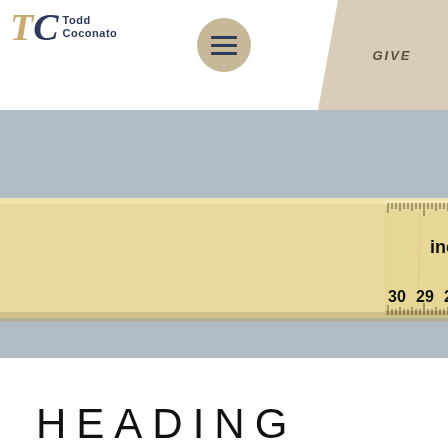TC Todd Coconato | GIVE
[Figure (photo): A wooden ruler on a grey background showing inch markings on top (inch, 1, MADE IN CHINA, 2) and centimeter markings on the bottom (30, 29, 28, 27, 26, 25, 24), photographed close-up from above.]
HEADING